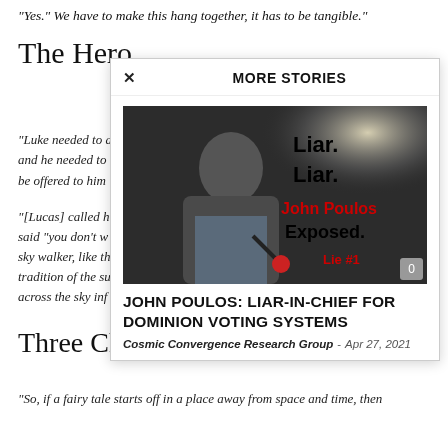“Yes.” We have to make this hang together, it has to be tangible.”
The Hero
“Luke needed to a… and he needed to… be offered to him…
“[Lucas] called h… said “you don’t w… sky walker, like th… tradition of the s… across the sky in…
Three Ch…
“So, if a fairy tale starts off in a place away from space and time, then…
[Figure (screenshot): MORE STORIES overlay panel with a story card. Image shows a man at a microphone with overlaid bold text: 'Liar. Liar. John Poulos Exposed. Lie #1'. Headline: 'JOHN POULOS: LIAR-IN-CHIEF FOR DOMINION VOTING SYSTEMS'. Source: Cosmic Convergence Research Group. Date: Apr 27, 2021. Comment count: 0.]